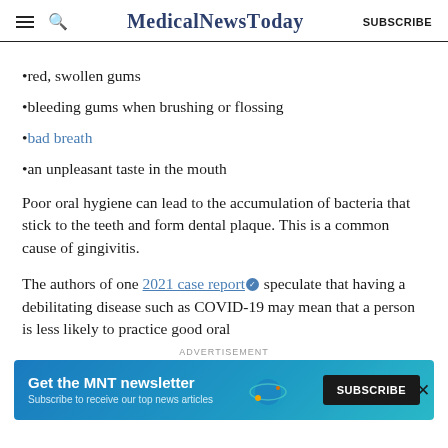MedicalNewsToday | SUBSCRIBE
red, swollen gums
bleeding gums when brushing or flossing
bad breath
an unpleasant taste in the mouth
Poor oral hygiene can lead to the accumulation of bacteria that stick to the teeth and form dental plaque. This is a common cause of gingivitis.
The authors of one 2021 case report speculate that having a debilitating disease such as COVID-19 may mean that a person is less likely to practice good oral
[Figure (infographic): Advertisement banner for MNT newsletter. Teal/blue background with text 'Get the MNT newsletter' and subtext 'Subscribe to receive our top news articles.' with a SUBSCRIBE button.]